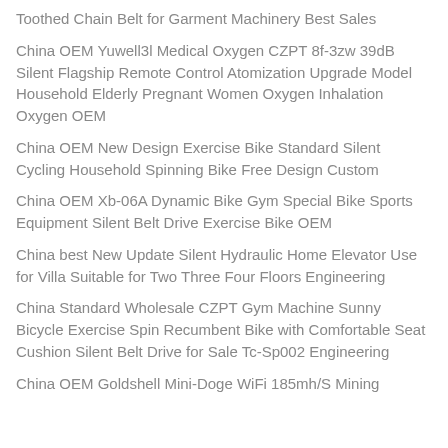Toothed Chain Belt for Garment Machinery Best Sales
China OEM Yuwell3l Medical Oxygen CZPT 8f-3zw 39dB Silent Flagship Remote Control Atomization Upgrade Model Household Elderly Pregnant Women Oxygen Inhalation Oxygen OEM
China OEM New Design Exercise Bike Standard Silent Cycling Household Spinning Bike Free Design Custom
China OEM Xb-06A Dynamic Bike Gym Special Bike Sports Equipment Silent Belt Drive Exercise Bike OEM
China best New Update Silent Hydraulic Home Elevator Use for Villa Suitable for Two Three Four Floors Engineering
China Standard Wholesale CZPT Gym Machine Sunny Bicycle Exercise Spin Recumbent Bike with Comfortable Seat Cushion Silent Belt Drive for Sale Tc-Sp002 Engineering
China OEM Goldshell Mini-Doge WiFi 185mh/S Mining